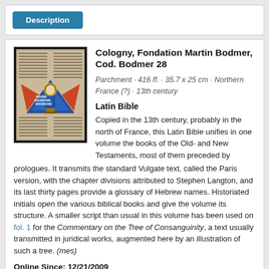Description
Cologny, Fondation Martin Bodmer, Cod. Bodmer 28
Parchment · 416 ff. · 35.7 x 25 cm · Northern France (?) · 13th century
Latin Bible
Copied in the 13th century, probably in the north of France, this Latin Bible unifies in one volume the books of the Old- and New Testaments, most of them preceded by prologues. It transmits the standard Vulgate text, called the Paris version, with the chapter divisions attributed to Stephen Langton, and its last thirty pages provide a glossary of Hebrew names. Historiated initials open the various biblical books and give the volume its structure. A smaller script than usual in this volume has been used on fol. 1 for the Commentary on the Tree of Consanguinity, a text usually transmitted in juridical works, augmented here by an illustration of such a tree. (mes)
Online Since: 12/21/2009